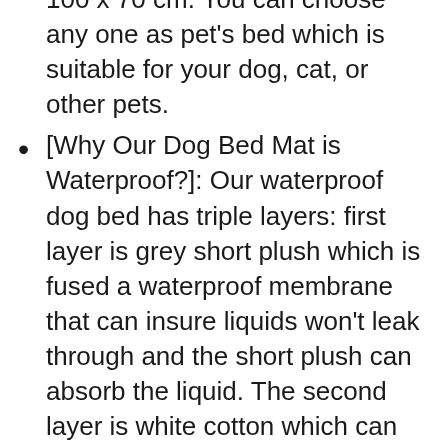100 x 70 cm. You can choose any one as pet's bed which is suitable for your dog, cat, or other pets.
[Why Our Dog Bed Mat is Waterproof?]: Our waterproof dog bed has triple layers: first layer is grey short plush which is fused a waterproof membrane that can insure liquids won't leak through and the short plush can absorb the liquid. The second layer is white cotton which can offer a soft and comfortable feeling for your pet. The third layer is cloth with plastic dot which is anti-slip.
[Most Significant: Machine Wash & Dry]: You know that the furry pet can create some unique cleaning challenges that the...